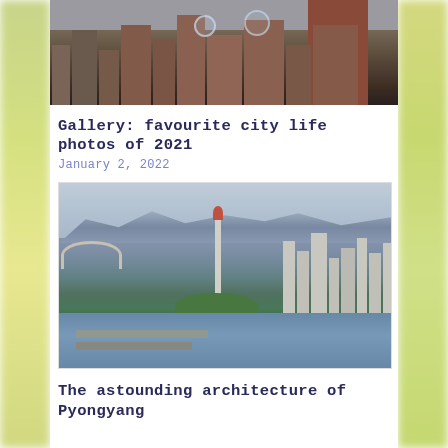[Figure (photo): Cropped top portion of a city street photo showing brick/industrial buildings with soap bubbles floating in the air]
Gallery: favourite city life photos of 2021
January 2, 2022
[Figure (photo): Aerial panoramic view of Pyongyang, North Korea, showing the Taedong River with bridges, the Juche Tower, city skyline, and mountains in the background]
The astounding architecture of Pyongyang